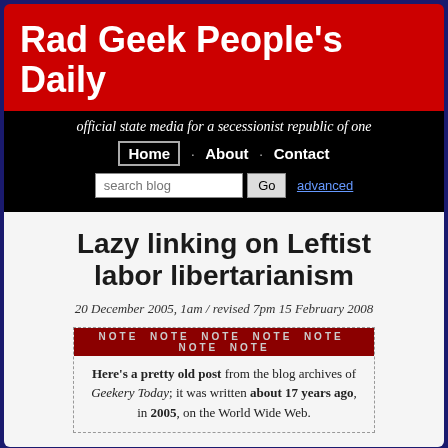Rad Geek People's Daily
official state media for a secessionist republic of one
Home · About · Contact
search blog  Go  advanced
Lazy linking on Leftist labor libertarianism
20 December 2005, 1am / revised 7pm 15 February 2008
NOTE NOTE NOTE NOTE NOTE NOTE NOTE
Here's a pretty old post from the blog archives of Geekery Today; it was written about 17 years ago, in 2005, on the World Wide Web.